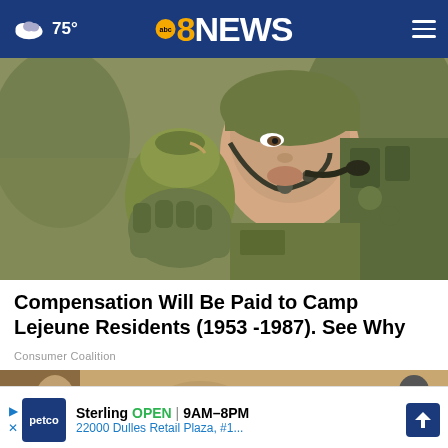75° abc 8NEWS
[Figure (photo): Close-up photo of a soldier in military gear holding a green canteen/water flask to their mouth, wearing a military helmet and gloves]
Compensation Will Be Paid to Camp Lejeune Residents (1953 -1987). See Why
Consumer Coalition
[Figure (photo): Partial photo showing a brown/gold background, second article image]
Sterling  OPEN  9AM–8PM
22000 Dulles Retail Plaza, #1...